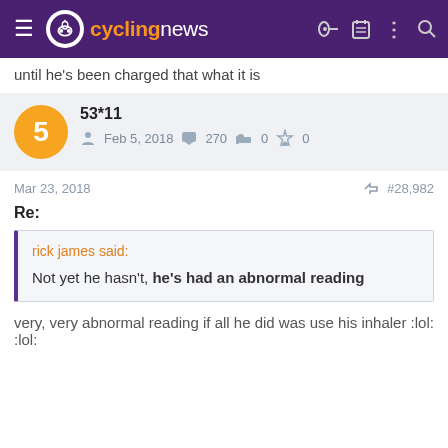cyclingnews
until he's been charged that what it is
53*11
Feb 5, 2018  270  0  0
Mar 23, 2018  #28,982
Re:
rick james said:
Not yet he hasn't, he's had an abnormal reading
very, very abnormal reading if all he did was use his inhaler :lol: :lol: